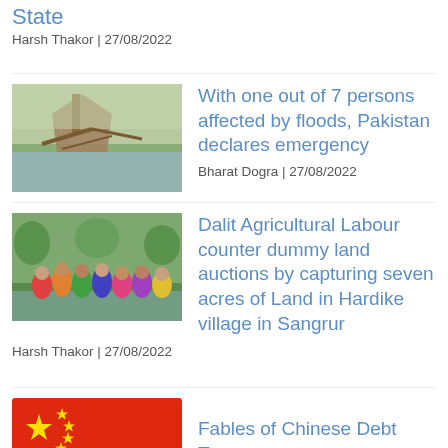State
Harsh Thakor | 27/08/2022
[Figure (photo): Flood damage scene with debris and water]
With one out of 7 persons affected by floods, Pakistan declares emergency
Bharat Dogra | 27/08/2022
[Figure (photo): Group of people gathered near flooded land]
Dalit Agricultural Labour counter dummy land auctions by capturing seven acres of Land in Hardike village in Sangrur
Harsh Thakor | 27/08/2022
[Figure (illustration): Chinese national flag (red with yellow stars)]
Fables of Chinese Debt Trap
Bhabani Shankar Nayak | 27/08/2022
Alluri  Sitarama Raju, Unique Revolutionary, Remembered on Rampa Adivasi Revolt's  Centenary